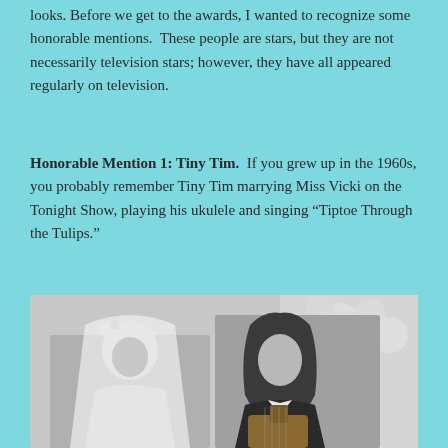looks. Before we get to the awards, I wanted to recognize some honorable mentions.  These people are stars, but they are not necessarily television stars; however, they have all appeared regularly on television.
Honorable Mention 1: Tiny Tim.  If you grew up in the 1960s, you probably remember Tiny Tim marrying Miss Vicki on the Tonight Show, playing his ukulele and singing “Tiptoe Through the Tulips.”
[Figure (photo): Black and white photograph of a bride in a white wedding veil and dress on the left, and a man with long dark curly hair holding a ukulele on the right, with flowers in the background — depicting Tiny Tim and Miss Vicki on the Tonight Show.]